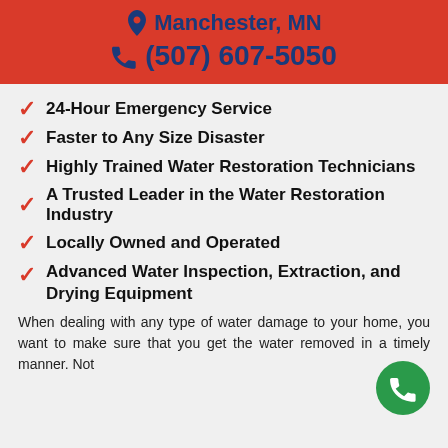Manchester, MN
(507) 607-5050
24-Hour Emergency Service
Faster to Any Size Disaster
Highly Trained Water Restoration Technicians
A Trusted Leader in the Water Restoration Industry
Locally Owned and Operated
Advanced Water Inspection, Extraction, and Drying Equipment
When dealing with any type of water damage to your home, you want to make sure that you get the water removed in a timely manner. Not